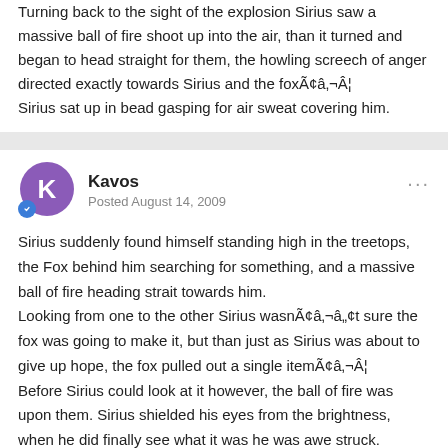Turning back to the sight of the explosion Sirius saw a massive ball of fire shoot up into the air, than it turned and began to head straight for them, the howling screech of anger directed exactly towards Sirius and the foxÃ¢â‚¬Â¦
Sirius sat up in bead gasping for air sweat covering him.
Kavos
Posted August 14, 2009
Sirius suddenly found himself standing high in the treetops, the Fox behind him searching for something, and a massive ball of fire heading strait towards him.
Looking from one to the other Sirius wasnÃ¢â‚¬â„¢t sure the fox was going to make it, but than just as Sirius was about to give up hope, the fox pulled out a single itemÃ¢â‚¬Â¦
Before Sirius could look at it however, the ball of fire was upon them. Sirius shielded his eyes from the brightness, when he did finally see what it was he was awe struck. Hovering in the air less than five feet away, was a massive bird, itÃ¢â‚¬â„¢s body emolliated in rolling flamesÃ¢â‚¬Â¦ It was a Phoenix!